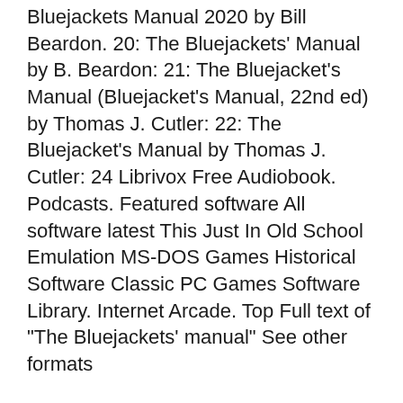Bluejackets Manual 2020 by Bill Beardon. 20: The Bluejackets' Manual by B. Beardon: 21: The Bluejacket's Manual (Bluejacket's Manual, 22nd ed) by Thomas J. Cutler: 22: The Bluejacket's Manual by Thomas J. Cutler: 24 Librivox Free Audiobook. Podcasts. Featured software All software latest This Just In Old School Emulation MS-DOS Games Historical Software Classic PC Games Software Library. Internet Arcade. Top Full text of "The Bluejackets' manual" See other formats
May 28, 2009B B· From the days of oars and coal-fired engines to the computerized era of the twenty-first century, The Bluejacket's Manual has been an essential part of the American Sailor's sea bag for more than one